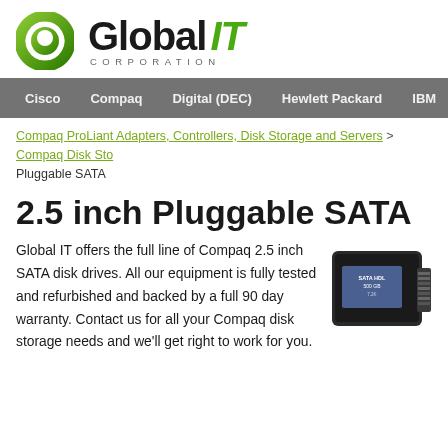Global IT CORPORATION
Cisco | Compaq | Digital (DEC) | Hewlett Packard | IBM | Sun
Compaq ProLiant Adapters, Controllers, Disk Storage and Servers > Compaq Disk Sto... Pluggable SATA
2.5 inch Pluggable SATA
Global IT offers the full line of Compaq 2.5 inch SATA disk drives. All our equipment is fully tested and refurbished and backed by a full 90 day warranty. Contact us for all your Compaq disk storage needs and we'll get right to work for you.
[Figure (photo): A 2.5 inch SATA hard disk drive with visible label reading SATA HDL, 500 GB, 7.2K]